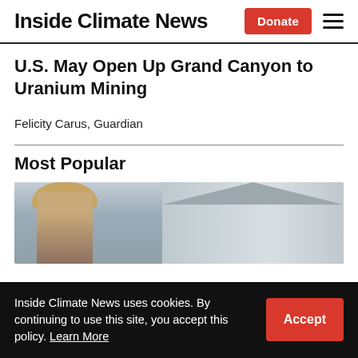Inside Climate News
U.S. May Open Up Grand Canyon to Uranium Mining
Felicity Carus, Guardian
Most Popular
[Figure (photo): Photo of a person wearing a tan CAT baseball cap in front of a white building with a metal roof]
Inside Climate News uses cookies. By continuing to use this site, you accept this policy. Learn More